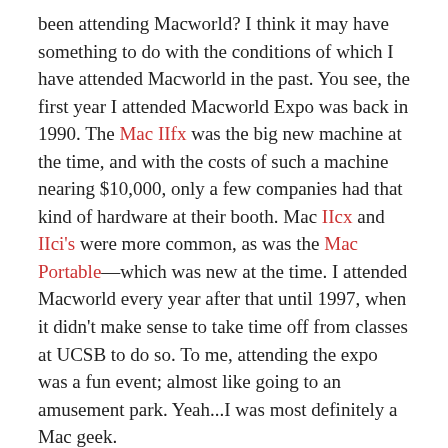been attending Macworld? I think it may have something to do with the conditions of which I have attended Macworld in the past. You see, the first year I attended Macworld Expo was back in 1990. The Mac IIfx was the big new machine at the time, and with the costs of such a machine nearing $10,000, only a few companies had that kind of hardware at their booth. Mac IIcx and IIci's were more common, as was the Mac Portable—which was new at the time. I attended Macworld every year after that until 1997, when it didn't make sense to take time off from classes at UCSB to do so. To me, attending the expo was a fun event; almost like going to an amusement park. Yeah...I was most definitely a Mac geek.
Perspective
The thing is, I never saw Macworld as a business event...it was strictly for fun. And now that I'm living in